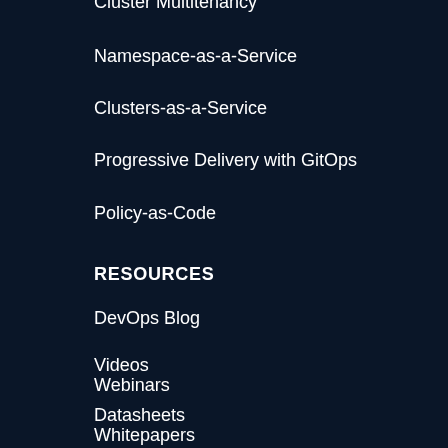Cluster Multitenancy
Namespace-as-a-Service
Clusters-as-a-Service
Progressive Delivery with GitOps
Policy-as-Code
RESOURCES
DevOps Blog
Videos
Webinars
Datasheets
Whitepapers